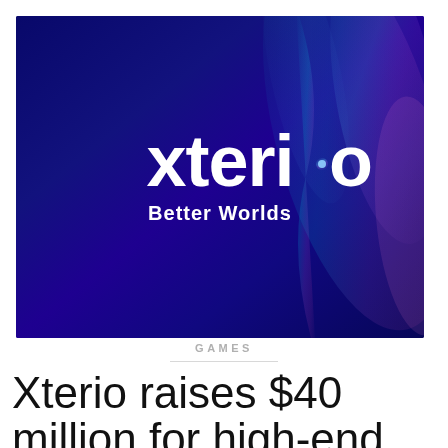[Figure (illustration): Xterio company logo banner with iridescent blue/purple/pink abstract streaks background. Large white bold 'xterio' text with a small circular dot accent, and 'Better Worlds' subtitle below.]
GAMES
Xterio raises $40 million for high-end